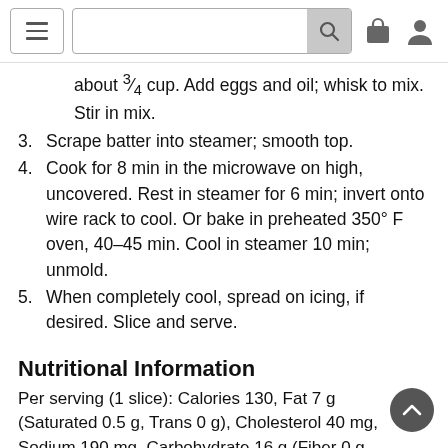[Navigation bar with hamburger menu, search box, cart icon, and user icon]
about ¾ cup. Add eggs and oil; whisk to mix. Stir in mix.
3. Scrape batter into steamer; smooth top.
4. Cook for 8 min in the microwave on high, uncovered. Rest in steamer for 6 min; invert onto wire rack to cool. Or bake in preheated 350° F oven, 40–45 min. Cool in steamer 10 min; unmold.
5. When completely cool, spread on icing, if desired. Slice and serve.
Nutritional Information
Per serving (1 slice): Calories 130, Fat 7 g (Saturated 0.5 g, Trans 0 g), Cholesterol 40 mg, Sodium 190 mg, Carbohydrate 16 g (Fiber 0 g, Sugars 8 g), Protein